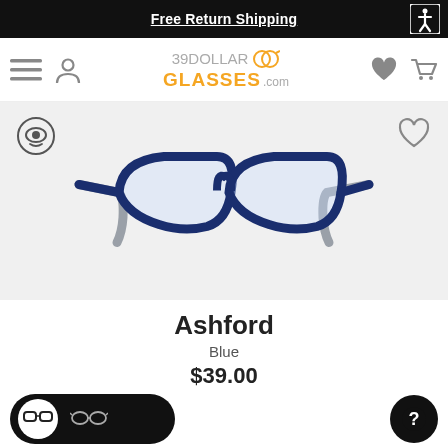Free Return Shipping
[Figure (screenshot): 39DollarGlasses.com website navigation bar with hamburger menu, user icon, logo, heart icon, and shopping cart icon]
[Figure (photo): Blue rectangular eyeglasses frames - Ashford model with navy/blue front frame and gray temples, front-facing product view on light gray background]
Ashford
Blue
$39.00